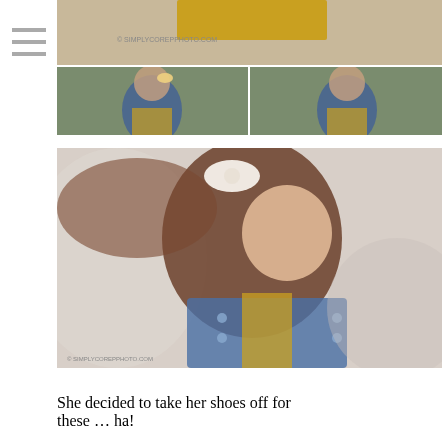[Figure (photo): Top collage of three photos: a close-up of a child's yellow hat and hands at top, and two side-by-side photos of a young girl in a blue denim jacket and yellow dress outdoors among pine trees]
[Figure (photo): Large portrait photo of a young girl with long brown hair blowing in the wind, wearing a white bow, blue denim jacket and yellow dress, looking down, with a soft blurred background]
She decided to take her shoes off for these … ha!